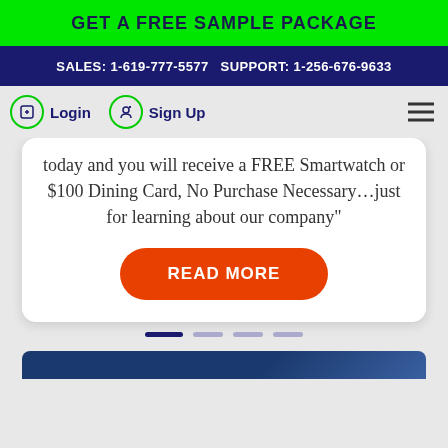GET A FREE SAMPLE PACKAGE
SALES: 1-619-777-5577   SUPPORT: 1-256-676-9633
Login   Sign Up
today and you will receive a FREE Smartwatch or $100 Dining Card, No Purchase Necessary…just for learning about our company"
READ MORE
[Figure (other): Slider navigation dots: one active (dark blue), three inactive (light blue/grey)]
[Figure (photo): Bottom partial image strip in dark blue, partially visible at page bottom]